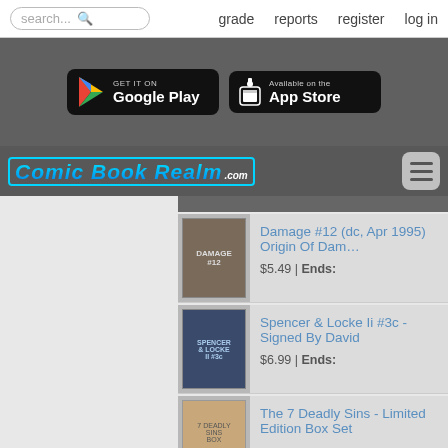search... grade reports register log in
[Figure (screenshot): Google Play and App Store download buttons on dark banner]
[Figure (logo): Comic Book Realm .com logo with hamburger menu button]
Damage #12 (dc, Apr 1995) Origin Of Dam… $5.49 | Ends:
Spencer & Locke Ii #3c - Signed By David $6.99 | Ends:
The 7 Deadly Sins - Limited Edition Box Set